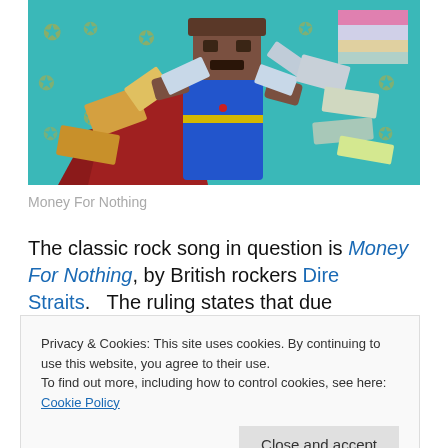[Figure (screenshot): Screenshot of a blocky/low-poly 3D video game showing a character in blue overalls surrounded by colorful paper/block debris on a teal background with lightning bolt patterns]
Money For Nothing
The classic rock song in question is Money For Nothing, by British rockers Dire Straits.   The ruling states that due
Privacy & Cookies: This site uses cookies. By continuing to use this website, you agree to their use.
To find out more, including how to control cookies, see here: Cookie Policy
Close and accept